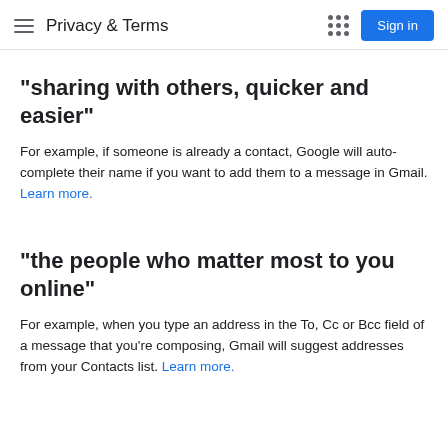Privacy & Terms
"sharing with others, quicker and easier"
For example, if someone is already a contact, Google will auto-complete their name if you want to add them to a message in Gmail. Learn more.
"the people who matter most to you online"
For example, when you type an address in the To, Cc or Bcc field of a message that you're composing, Gmail will suggest addresses from your Contacts list. Learn more.